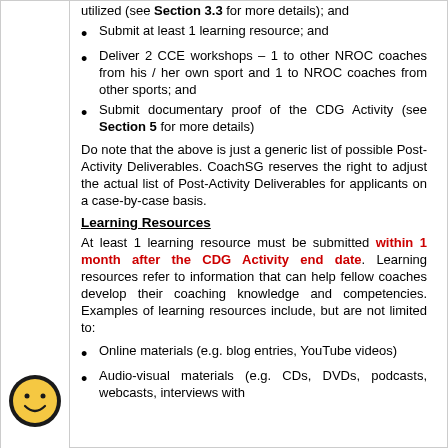Submit at least 1 learning resource; and
Deliver 2 CCE workshops – 1 to other NROC coaches from his / her own sport and 1 to NROC coaches from other sports; and
Submit documentary proof of the CDG Activity (see Section 5 for more details)
Do note that the above is just a generic list of possible Post-Activity Deliverables. CoachSG reserves the right to adjust the actual list of Post-Activity Deliverables for applicants on a case-by-case basis.
Learning Resources
At least 1 learning resource must be submitted within 1 month after the CDG Activity end date. Learning resources refer to information that can help fellow coaches develop their coaching knowledge and competencies. Examples of learning resources include, but are not limited to:
Online materials (e.g. blog entries, YouTube videos)
Audio-visual materials (e.g. CDs, DVDs, podcasts, webcasts, interviews with